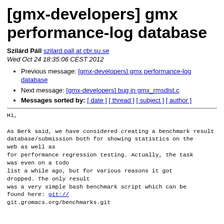[gmx-developers] gmx performance-log database
Szilárd Páll szilard.pall at cbr.su.se
Wed Oct 24 18:35:06 CEST 2012
Previous message: [gmx-developers] gmx performance-log database
Next message: [gmx-developers] bug in gmx_rmsdist.c
Messages sorted by: [ date ] [ thread ] [ subject ] [ author ]
Hi,

As Berk said, we have considered creating a benchmark result
database/submission both for showing statistics on the web as well as
for performance regression testing. Actually, the task was even on a todo
list a while ago, but for various reasons it got dropped. The only result
was a very simple bash benchmark script which can be found here: git://
git.gromacs.org/benchmarks.git